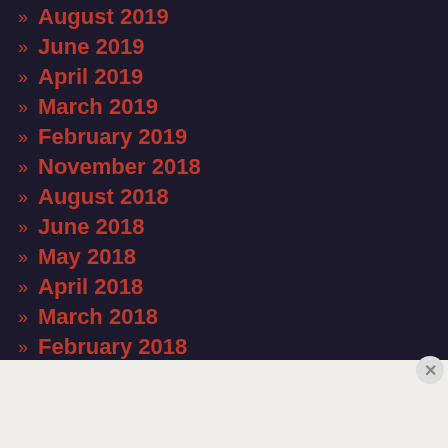August 2019
June 2019
April 2019
March 2019
February 2019
November 2018
August 2018
June 2018
May 2018
April 2018
March 2018
February 2018
[Figure (other): Advertisement banner for BoConcept: Final Week sale with shop now button and furniture image]